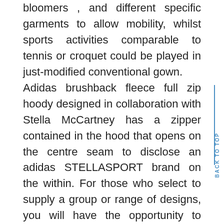bloomers , and different specific garments to allow mobility, whilst sports activities comparable to tennis or croquet could be played in just-modified conventional gown.
Adidas brushback fleece full zip hoody designed in collaboration with Stella McCartney has a zipper contained in the hood that opens on the centre seam to disclose an adidas STELLASPORT brand on the within. For those who select to supply a group or range of designs, you will have the opportunity to liaise straight with manufacturing corporations to have samples made in factories.
Please enter your account details to view your want checklist. When spring comes round everyone starts to get excited for picnics, boat